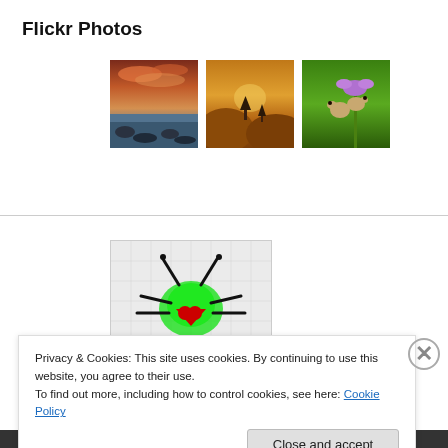Flickr Photos
[Figure (photo): Three Flickr photo thumbnails: a sunset over rocky coastline, a golden mountain landscape at dusk, and two mice on a flower]
More Photos
[Figure (illustration): Pixel art illustration of a green insect/bug with black antennae and a red heart shape on its body, on a white grid background]
Privacy & Cookies: This site uses cookies. By continuing to use this website, you agree to their use.
To find out more, including how to control cookies, see here: Cookie Policy
Close and accept